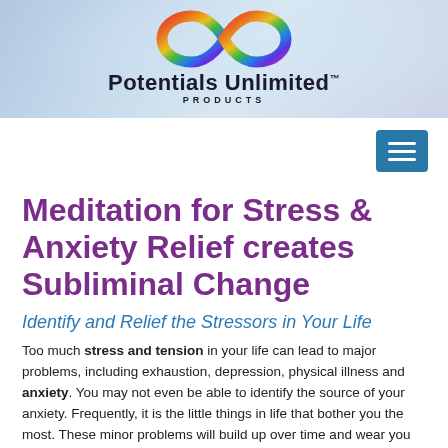[Figure (logo): Potentials Unlimited Products logo with rainbow infinity symbol above the text 'Potentials Unlimited™ PRODUCTS' on a light blue-grey gradient background]
[Figure (other): Navigation bar with hamburger menu button (blue, three white lines) on the right side]
Meditation for Stress & Anxiety Relief creates Subliminal Change
Identify and Relief the Stressors in Your Life
Too much stress and tension in your life can lead to major problems, including exhaustion, depression, physical illness and anxiety. You may not even be able to identify the source of your anxiety. Frequently, it is the little things in life that bother you the most. These minor problems will build up over time and wear you down.
Our Guided Meditation CD's and MP3's Help You Reduce Stress & Anxiety